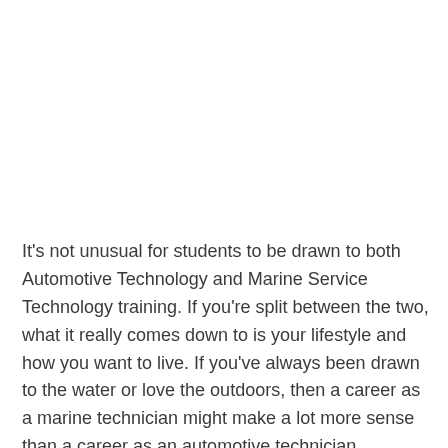It's not unusual for students to be drawn to both Automotive Technology and Marine Service Technology training. If you're split between the two, what it really comes down to is your lifestyle and how you want to live. If you've always been drawn to the water or love the outdoors, then a career as a marine technician might make a lot more sense than a career as an automotive technician.
Perhaps you've been on a family member's boat and that